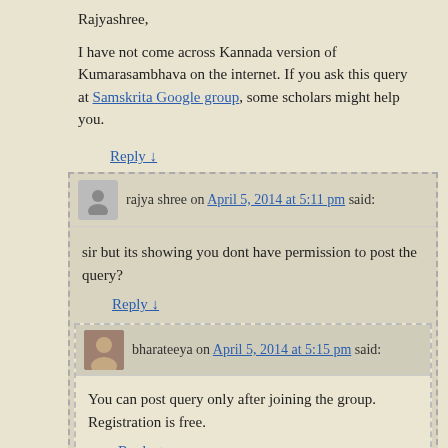Rajyashree,
I have not come across Kannada version of Kumarasambhava on the internet. If you ask this query at Samskrita Google group, some scholars might help you.
Reply ↓
rajya shree on April 5, 2014 at 5:11 pm said:
sir but its showing you dont have permission to post the query?
Reply ↓
bharateeya on April 5, 2014 at 5:15 pm said:
You can post query only after joining the group. Registration is free.
Reply ↓
rajya shree on April 5, 2014 at 5:19 pm said: